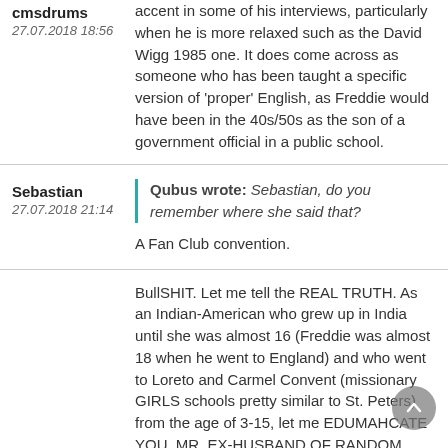accent in some of his interviews, particularly when he is more relaxed such as the David Wigg 1985 one. It does come across as someone who has been taught a specific version of 'proper' English, as Freddie would have been in the 40s/50s as the son of a government official in a public school.
cmsdrums
27.07.2018 18:56
Sebastian
27.07.2018 21:14
Qubus wrote: Sebastian, do you remember where she said that?
A Fan Club convention.
BullSHIT. Let me tell the REAL TRUTH. As an Indian-American who grew up in India until she was almost 16 (Freddie was almost 18 when he went to England) and who went to Loreto and Carmel Convent (missionary GIRLS schools pretty similar to St. Peters) from the age of 3-15, let me EDUMAHCATE YOU, MR. EX-HUSBAND OF RANDOM INDIAN LADY: Our FIRST LANGUAGE in our school was ENGLISH because they were ENGLISH MEDIUM SCHOOLS. The thought that...